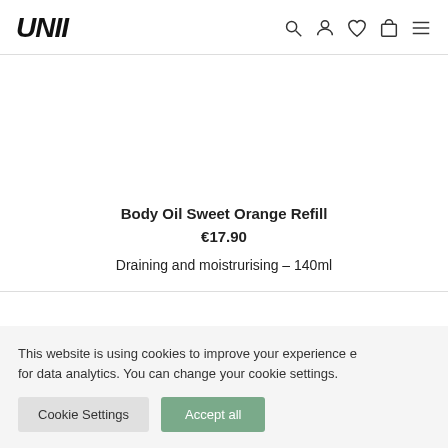UNII
Body Oil Sweet Orange Refill
€17.90
Draining and moistrurising – 140ml
This website is using cookies to improve your experience e for data analytics. You can change your cookie settings.